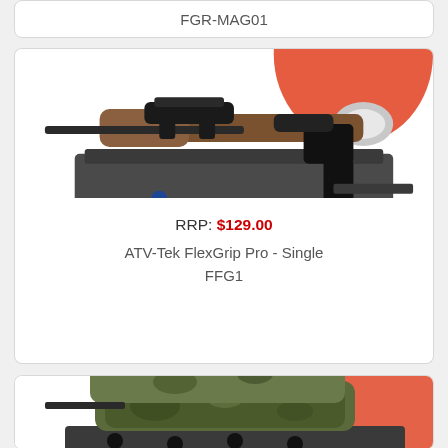FGR-MAG01
[Figure (photo): Rifle with scope mounted on ATV rack, gun secured in a flex grip mount, red ATV body visible in background]
RRP: $129.00
ATV-Tek FlexGrip Pro - Single
FFG1
[Figure (photo): Two rifles in camouflage-patterned cases mounted on ATV rack, red ATV body visible in background]